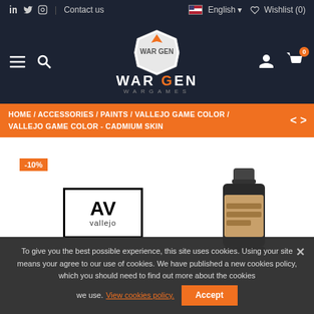f  twitter  instagram  |  Contact us  |  English  |  Wishlist (0)
[Figure (logo): War Gen Wargames logo with hexagonal emblem, white and orange branding]
HOME / ACCESSORIES / PAINTS / VALLEJO GAME COLOR / VALLEJO GAME COLOR - CADMIUM SKIN
[Figure (photo): Product page for Vallejo Game Color Cadmium Skin paint bottle with -10% discount badge and Vallejo AV logo]
To give you the best possible experience, this site uses cookies. Using your site means your agree to our use of cookies. We have published a new cookies policy, which you should need to find out more about the cookies we use. View cookies policy.   Accept